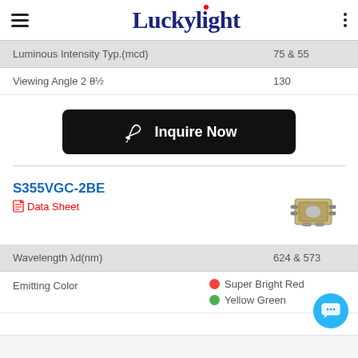Luckylight
| Parameter | Value |
| --- | --- |
| Luminous Intensity Typ.(mcd) | 75 & 55 |
| Viewing Angle 2 θ½ | 130 |
[Figure (other): Inquire Now button with pen/quill icon on black background]
S355VGC-2BE
Data Sheet
[Figure (photo): SMD LED component photo]
| Parameter | Value |
| --- | --- |
| Wavelength λd(nm) | 624 & 573 |
| Emitting Color | Super Bright Red / Yellow Green |